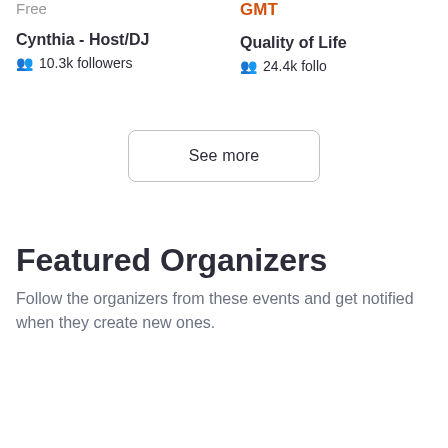Free
GMT
Cynthia - Host/DJ
10.3k followers
Quality of Life
24.4k followers
See more
Featured Organizers
Follow the organizers from these events and get notified when they create new ones.